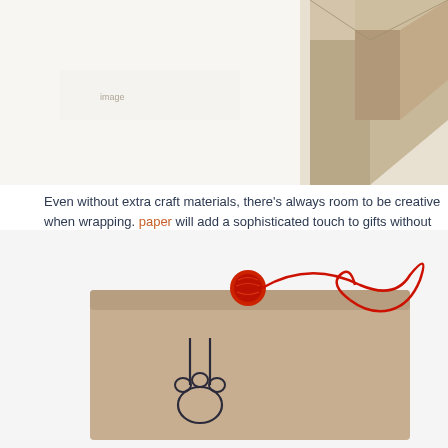[Figure (photo): Photo of kraft paper wrapped gift boxes with geometric origami-style folding, viewed from above on a white background, partially cropped at top of page.]
Even without extra craft materials, there's always room to be creative when wrapping. paper will add a sophisticated touch to gifts without costing a dime.
[Figure (photo): Photo of a kraft paper wrapped gift with a hand-drawn cat paw print on the front and a red yarn/string tied around it forming a heart shape, on a white background.]